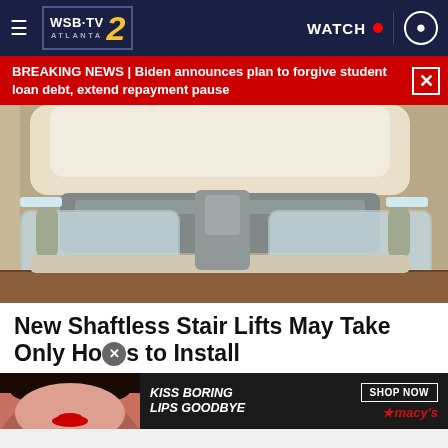WSB-TV 2 ATLANTA | WATCH | [user icon]
BREAKING NEWS | Biden announces plan to forgive student loan debt, extend repayment pause
[Figure (photo): Close-up photo of a stair lift chair mechanism showing the seat bottom and lift rail/track components in beige and silver tones on a staircase]
New Shaftless Stair Lifts May Take Only Hours to Install
Stair Lifts |
[Figure (advertisement): Macy's lipstick advertisement showing a woman's face with red lips. Text: KISS BORING LIPS GOODBYE. SHOP NOW. ★macy's]